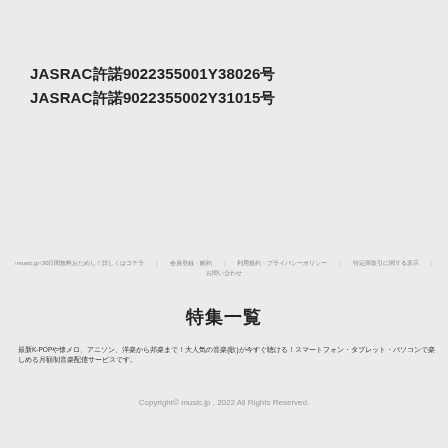JASRAC許諾9022355001Y38026号
JASRAC許諾9022355002Y31015号
↑music.jp↑30日間無料おためし！詳しくはコチラ | 会員登録・解約 | 利用規約・プライバシーポリシー | 特定商取引に関する表示 | お問い合わせ
特集一覧
最新K-POPや懐メロ、アニソン、洋楽から邦楽まで！大人気の音楽(歌)が今すぐ聴ける！スマートフォン・タブレット・パソコンで楽しめる月額制音楽配信サービスです。
Copyright© music.jp , 2022 All Rights Reserved.